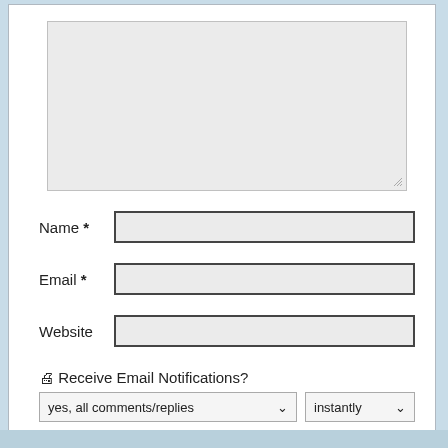[Figure (screenshot): Web comment form with textarea, Name, Email, Website fields, email notification dropdown selects, subscribe link, and Post Comment button]
Name *
Email *
Website
🖨 Receive Email Notifications?
yes, all comments/replies
instantly
Or, you can subscribe without commenting.